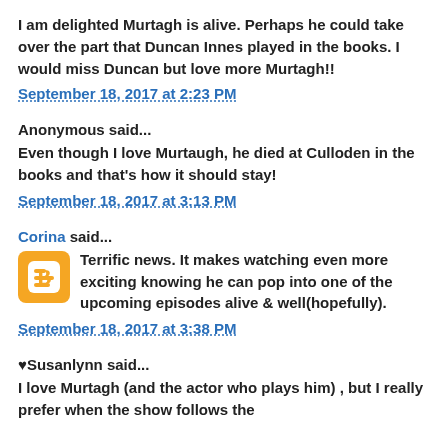I am delighted Murtagh is alive. Perhaps he could take over the part that Duncan Innes played in the books. I would miss Duncan but love more Murtagh!!
September 18, 2017 at 2:23 PM
Anonymous said...
Even though I love Murtaugh, he died at Culloden in the books and that's how it should stay!
September 18, 2017 at 3:13 PM
Corina said...
Terrific news. It makes watching even more exciting knowing he can pop into one of the upcoming episodes alive & well(hopefully).
September 18, 2017 at 3:38 PM
♥Susanlynn said...
I love Murtagh (and the actor who plays him) , but I really prefer when the show follows the